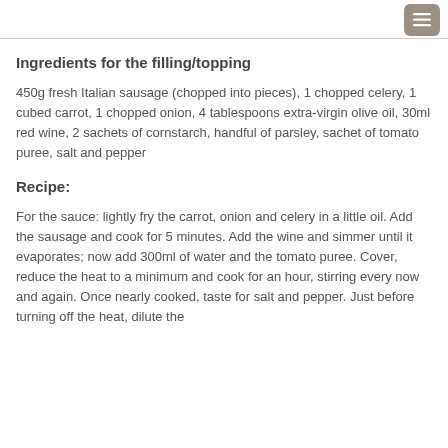≡
Ingredients for the filling/topping
450g fresh Italian sausage (chopped into pieces), 1 chopped celery, 1 cubed carrot, 1 chopped onion, 4 tablespoons extra-virgin olive oil, 30ml red wine, 2 sachets of cornstarch, handful of parsley, sachet of tomato puree, salt and pepper
Recipe:
For the sauce: lightly fry the carrot, onion and celery in a little oil. Add the sausage and cook for 5 minutes. Add the wine and simmer until it evaporates; now add 300ml of water and the tomato puree. Cover, reduce the heat to a minimum and cook for an hour, stirring every now and again. Once nearly cooked, taste for salt and pepper. Just before turning off the heat, dilute the